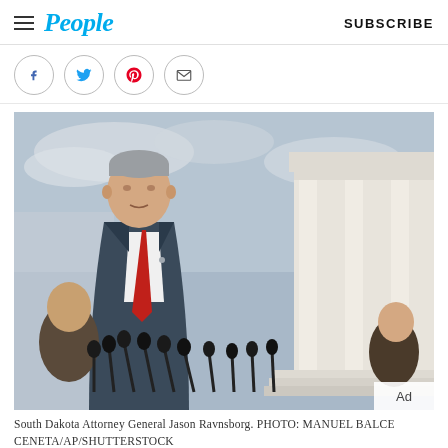People — SUBSCRIBE
[Figure (other): Social sharing icons: Facebook, Twitter, Pinterest, Email — each in a circle]
[Figure (photo): South Dakota Attorney General Jason Ravnsborg speaking at a podium with multiple microphones in front of the US Supreme Court building. He is wearing a dark suit with a red tie.]
South Dakota Attorney General Jason Ravnsborg. PHOTO: MANUEL BALCE CENETA/AP/SHUTTERSTOCK